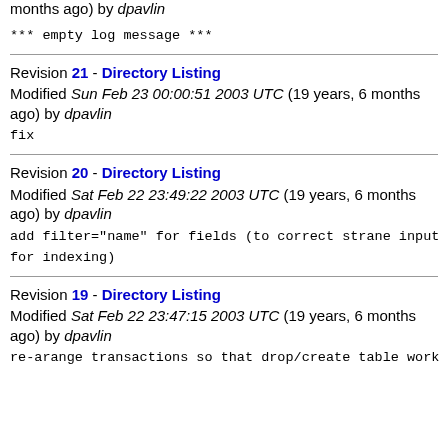months ago) by dpavlin
*** empty log message ***
Revision 21 - Directory Listing
Modified Sun Feb 23 00:00:51 2003 UTC (19 years, 6 months ago) by dpavlin
fix
Revision 20 - Directory Listing
Modified Sat Feb 22 23:49:22 2003 UTC (19 years, 6 months ago) by dpavlin
add filter="name" for fields (to correct strane input data or make variations
for indexing)
Revision 19 - Directory Listing
Modified Sat Feb 22 23:47:15 2003 UTC (19 years, 6 months ago) by dpavlin
re-arange transactions so that drop/create table work